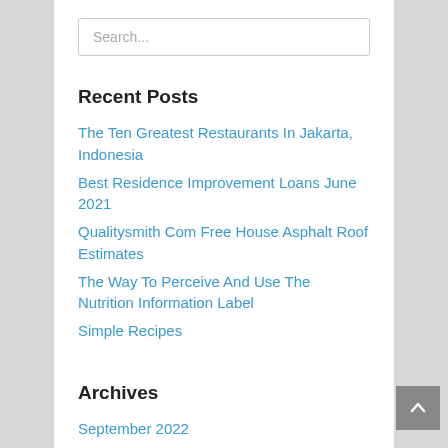Search...
Recent Posts
The Ten Greatest Restaurants In Jakarta, Indonesia
Best Residence Improvement Loans June 2021
Qualitysmith Com Free House Asphalt Roof Estimates
The Way To Perceive And Use The Nutrition Information Label
Simple Recipes
Archives
September 2022
August 2022
July 2022
June 2022